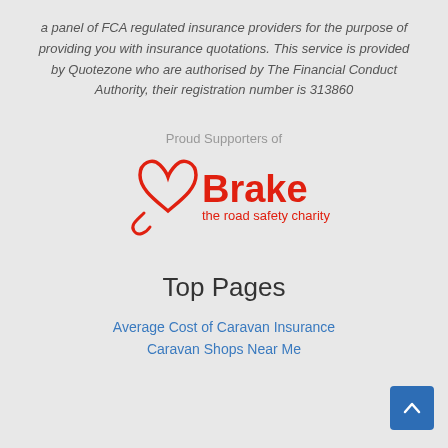a panel of FCA regulated insurance providers for the purpose of providing you with insurance quotations. This service is provided by Quotezone who are authorised by The Financial Conduct Authority, their registration number is 313860
Proud Supporters of
[Figure (logo): Brake the road safety charity logo with red heart and text]
Top Pages
Average Cost of Caravan Insurance
Caravan Shops Near Me